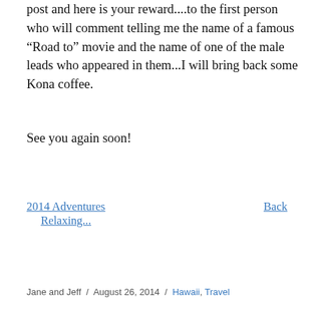post and here is your reward....to the first person who will comment telling me the name of a famous “Road to” movie and the name of one of the male leads who appeared in them...I will bring back some Kona coffee.
See you again soon!
2014 Adventures Relaxing...
Back
Jane and Jeff / August 26, 2014 / Hawaii, Travel